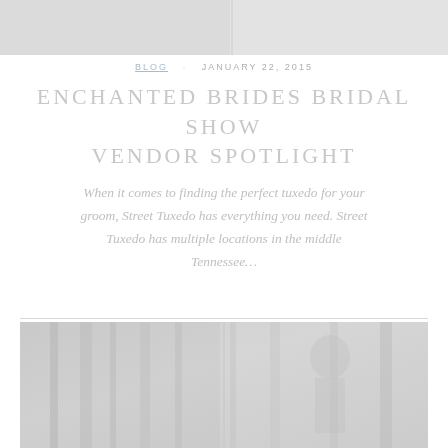[Figure (photo): Top portion of a photo, faded/light, appears to be a wedding or bridal show related image, showing light tones at the top of the page]
BLOG   JANUARY 22, 2015
ENCHANTED BRIDES BRIDAL SHOW VENDOR SPOTLIGHT
When it comes to finding the perfect tuxedo for your groom, Street Tuxedo has everything you need. Street Tuxedo has multiple locations in the middle Tennessee…
[Figure (photo): Wedding photo showing a couple in an outdoor wooded setting, the groom wearing a tuxedo, image is very faded/washed out in light grey tones]